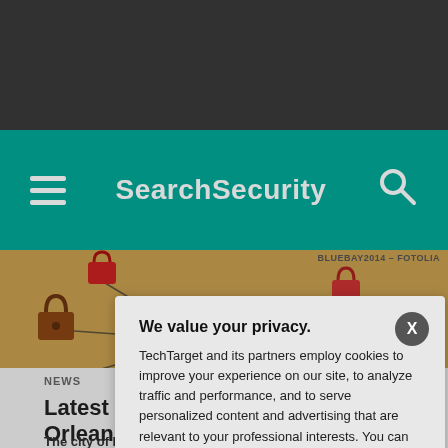SearchSecurity
[Figure (screenshot): Network of padlocks connected by strings on a wooden surface, suggesting cybersecurity network concept]
BLUEBAY2014 - FOTOLIA
NEWS
Latest city r... Orleans
The city of New O... the government tr... a ransomware att...
We value your privacy. TechTarget and its partners employ cookies to improve your experience on our site, to analyze traffic and performance, and to serve personalized content and advertising that are relevant to your professional interests. You can manage your settings at any time. Please view our Privacy Policy for more information